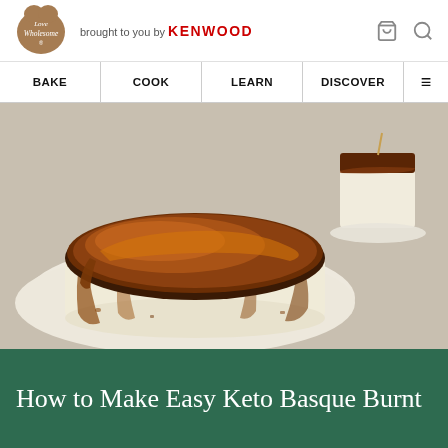Love Wholesome — brought to you by KENWOOD
[Figure (photo): Keto Basque burnt cheesecake with deeply caramelised top on crumpled parchment paper, with a slice on a plate in the background]
How to Make Easy Keto Basque Burnt Cheesecake